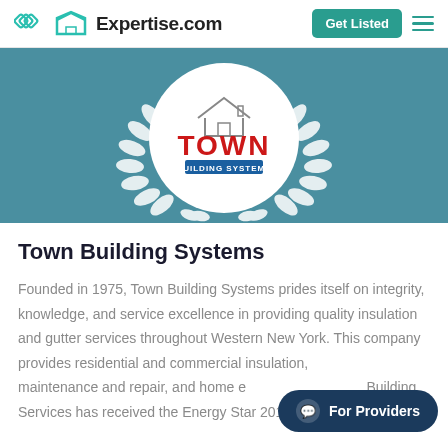Expertise.com
[Figure (logo): Town Building Systems logo inside a white circle with laurel wreath on a teal background]
Town Building Systems
Founded in 1975, Town Building Systems prides itself on integrity, knowledge, and service excellence in providing quality insulation and gutter services throughout Western New York. This company provides residential and commercial insulation, installation, maintenance and repair, and home energy audits. Town Building Services has received the Energy Star 2016